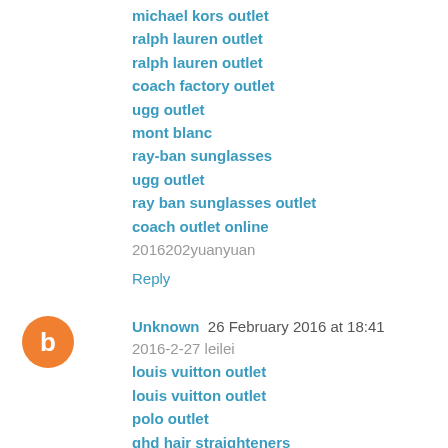michael kors outlet
ralph lauren outlet
ralph lauren outlet
coach factory outlet
ugg outlet
mont blanc
ray-ban sunglasses
ugg outlet
ray ban sunglasses outlet
coach outlet online
2016202yuanyuan
Reply
Unknown  26 February 2016 at 18:41
2016-2-27 leilei
louis vuitton outlet
louis vuitton outlet
polo outlet
ghd hair straighteners
nike sb janoski
hermes belt